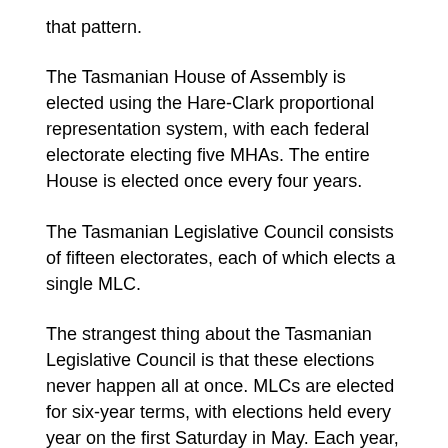that pattern.
The Tasmanian House of Assembly is elected using the Hare-Clark proportional representation system, with each federal electorate electing five MHAs. The entire House is elected once every four years.
The Tasmanian Legislative Council consists of fifteen electorates, each of which elects a single MLC.
The strangest thing about the Tasmanian Legislative Council is that these elections never happen all at once. MLCs are elected for six-year terms, with elections held every year on the first Saturday in May. Each year, two or three districts are up for election. These elections have only been held alongside lower house elections once, in 2021.
The political landscape additionally shows that the...